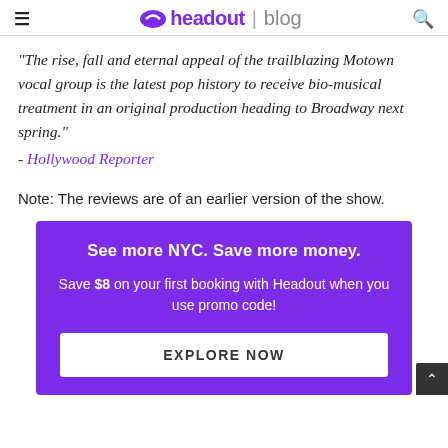headout | blog
“The rise, fall and eternal appeal of the trailblazing Motown vocal group is the latest pop history to receive bio-musical treatment in an original production heading to Broadway next spring.” - Hollywood Reporter
Note: The reviews are of an earlier version of the show.
See more NYC. Save more money. Save $8 on your first booking with Headout when you use promo code! EXPLORE NOW